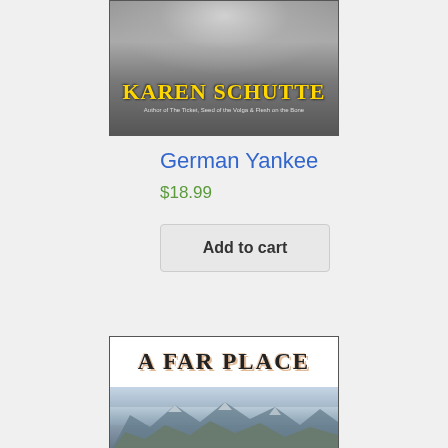[Figure (illustration): Book cover for 'German Yankee' by Karen Schutte. Author of The Ticket, Seed of the Volga & Flesh on the Bone. Dark smoky background with yellow stylized author name text.]
German Yankee
$18.99
Add to cart
[Figure (illustration): Book cover for 'A Far Place' showing title text at top on white background, with mountain/landscape scenery below in muted blue-gray tones.]